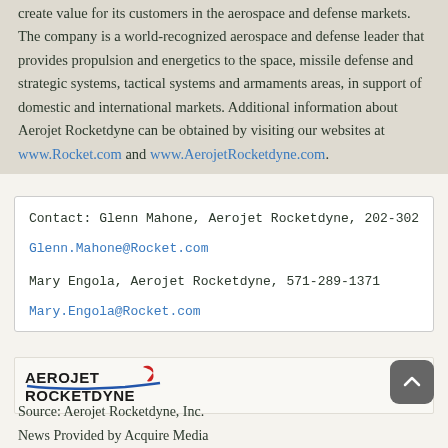create value for its customers in the aerospace and defense markets. The company is a world-recognized aerospace and defense leader that provides propulsion and energetics to the space, missile defense and strategic systems, tactical systems and armaments areas, in support of domestic and international markets. Additional information about Aerojet Rocketdyne can be obtained by visiting our websites at www.Rocket.com and www.AerojetRocketdyne.com.
Contact: Glenn Mahone, Aerojet Rocketdyne, 202-302-9
Glenn.Mahone@Rocket.com
Mary Engola, Aerojet Rocketdyne, 571-289-1371
Mary.Engola@Rocket.com
[Figure (logo): Aerojet Rocketdyne logo]
Source: Aerojet Rocketdyne, Inc.
News Provided by Acquire Media